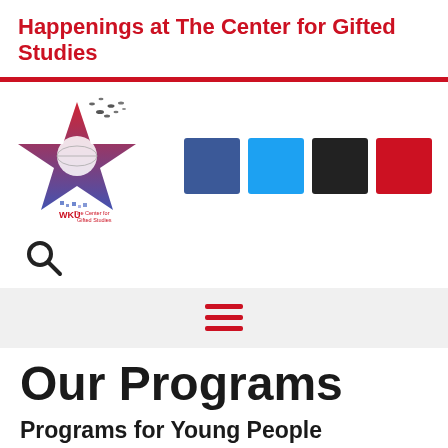Happenings at The Center for Gifted Studies
[Figure (logo): WKU The Center for Gifted Studies logo — a red and blue star with birds/figures dispersing from it, with text 'WKU The Center for Gifted Studies' below]
[Figure (infographic): Four social media icon color blocks: dark blue (Facebook), light blue (Twitter), black (X/other), red (YouTube/other)]
[Figure (other): Search magnifying glass icon]
[Figure (other): Hamburger menu icon (three red horizontal lines)]
Our Programs
Programs for Young People
Sum Ex...